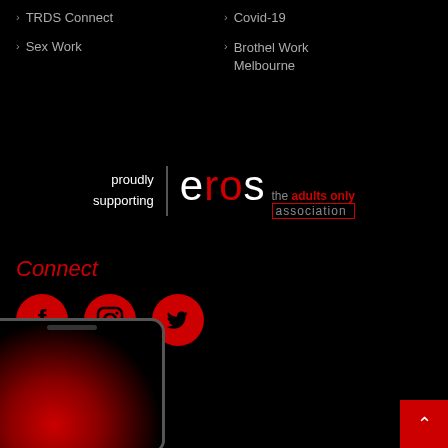> TRDS Connect
> Covid-19
> Sex Work
> Brothel Work Melbourne
[Figure (logo): Eros the adults only association logo with text 'proudly supporting' on the left]
Connect
[Figure (infographic): Three red circular social media icons: Facebook, Instagram, Twitter]
[Figure (photo): Bottom portion of a smartphone showing red flame-like imagery on screen]